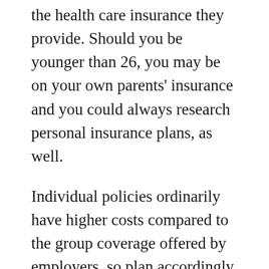the health care insurance they provide. Should you be younger than 26, you may be on your own parents' insurance and you could always research personal insurance plans, as well.
Individual policies ordinarily have higher costs compared to the group coverage offered by employers, so plan accordingly. You may have to have a smaller coverage or have got a higher deductible, and for many people it will probably be both. Look around to get good rates and the best coverage.